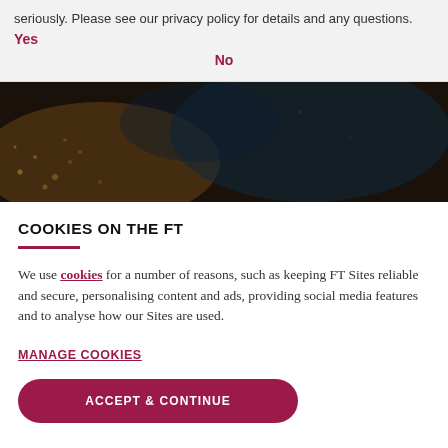seriously. Please see our privacy policy for details and any questions. Yes No
[Figure (photo): Dark close-up photograph of what appears to be coffee beans or dark granular material against a dark background, with some lighter textured areas.]
COOKIES ON THE FT
We use cookies for a number of reasons, such as keeping FT Sites reliable and secure, personalising content and ads, providing social media features and to analyse how our Sites are used.
MANAGE COOKIES
ACCEPT & CONTINUE